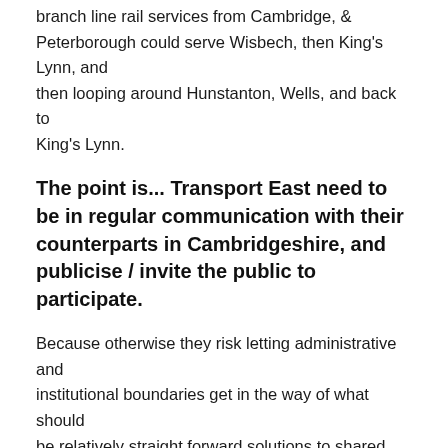branch line rail services from Cambridge, & Peterborough could serve Wisbech, then King's Lynn, and then looping around Hunstanton, Wells, and back to King's Lynn.
The point is... Transport East need to be in regular communication with their counterparts in Cambridgeshire, and publicise / invite the public to participate.
Because otherwise they risk letting administrative and institutional boundaries get in the way of what should be relatively straight forward solutions to shared problems.
Food for thought?
(Now to await the railway experts & engineers tear the